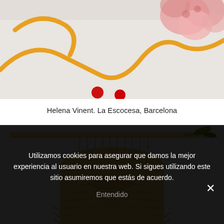[Figure (photo): Close-up photo showing textile/craft artwork with yellow cord, red beads, and pink flowers on a white surface — top portion of image]
Helena Vinent. La Escocesa, Barcelona
[Figure (photo): Photo of a woven raffia/straw wall hanging suspended from a bamboo stick, featuring a decorative pattern resembling a face or mustache shape and the letters UBI, hanging against a light gray background]
Utilizamos cookies para asegurar que damos la mejor experiencia al usuario en nuestra web. Si sigues utilizando este sitio asumiremos que estás de acuerdo.
Entendido